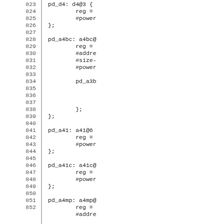Code listing lines 823-852 showing device tree or hardware configuration entries including pd_d4, pd_a4bc, pd_a3b, pd_a41, pd_a41c, pd_a4mp nodes with reg, #address-cells, #size-cells, #power-domain-cells properties